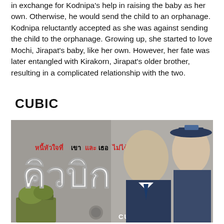in exchange for Kodnipa's help in raising the baby as her own. Otherwise, he would send the child to an orphanage. Kodnipa reluctantly accepted as she was against sending the child to the orphanage. Growing up, she started to love Mochi, Jirapat's baby, like her own. However, her fate was later entangled with Kirakorn, Jirapat's older brother, resulting in a complicated relationship with the two.
CUBIC
[Figure (photo): Promotional poster for the Thai TV series 'Cubic' (คิวบิก) showing a man in a suit and a woman in a uniform with a cap, smiling. Thai text reads 'หนี้หัวใจที่เขาและเธอไม่ได้ค้อ' with large Thai letters 'คิวบิก' and the word CUBIC at the bottom.]